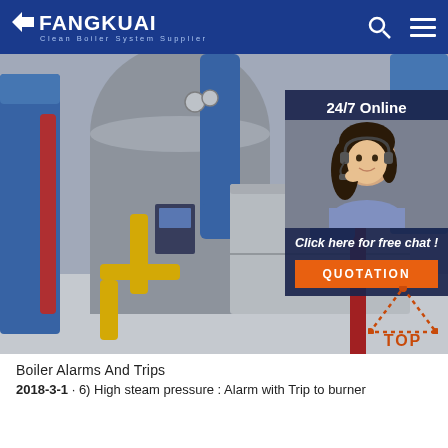FANGKUAI Clean Boiler System Supplier
[Figure (photo): Industrial boiler room with large cylindrical tanks, blue and red pipes, yellow gas pipes, and a stainless steel unit. Overlaid with a 24/7 online chat panel featuring a customer service representative and a QUOTATION button.]
Boiler Alarms And Trips
2018-3-1 · 6) High steam pressure : Alarm with Trip to burner